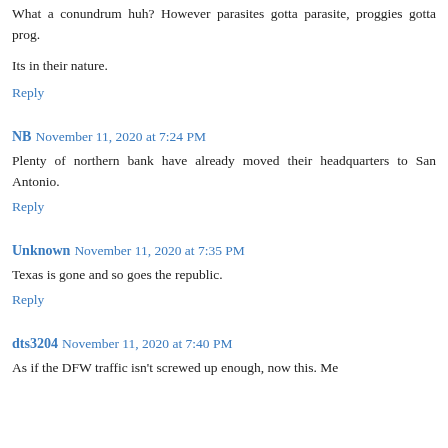What a conundrum huh? However parasites gotta parasite, proggies gotta prog.
Its in their nature.
Reply
NB November 11, 2020 at 7:24 PM
Plenty of northern bank have already moved their headquarters to San Antonio.
Reply
Unknown November 11, 2020 at 7:35 PM
Texas is gone and so goes the republic.
Reply
dts3204 November 11, 2020 at 7:40 PM
As if the DFW traffic isn't screwed up enough, now this. Me